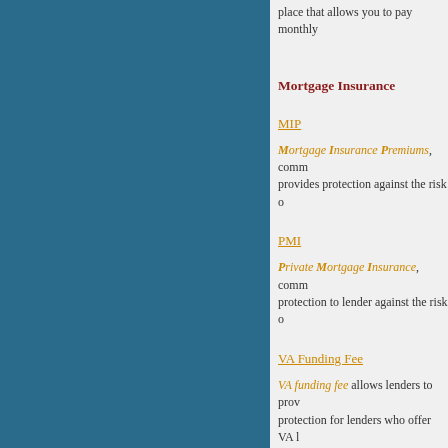place that allows you to pay monthly
Mortgage Insurance
MIP
Mortgage Insurance Premiums, comm… provides protection against the risk o…
PMI
Private Mortgage Insurance, comm… protection to lender against the risk o…
VA Funding Fee
VA funding fee allows lenders to prov… protection for lenders who offer VA l…
In some cases the above insurance fe… mortgage payment.
Mortgage Life Insurance will pay off…